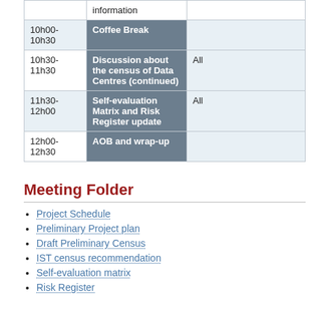| Time | Topic | Presenter |
| --- | --- | --- |
|  | information |  |
| 10h00-10h30 | Coffee Break |  |
| 10h30-11h30 | Discussion about the census of Data Centres (continued) | All |
| 11h30-12h00 | Self-evaluation Matrix and Risk Register update | All |
| 12h00-12h30 | AOB and wrap-up |  |
Meeting Folder
Project Schedule
Preliminary Project plan
Draft Preliminary Census
IST census recommendation
Self-evaluation matrix
Risk Register